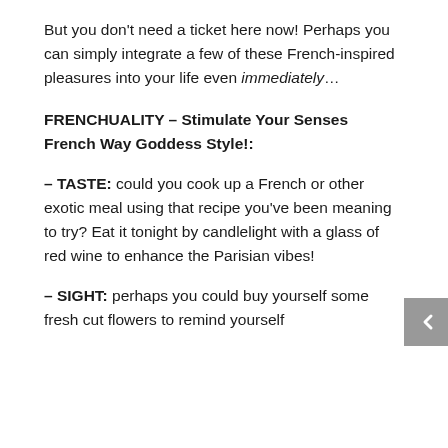But you don't need a ticket here now! Perhaps you can simply integrate a few of these French-inspired pleasures into your life even immediately…
FRENCHUALITY – Stimulate Your Senses French Way Goddess Style!:
– TASTE: could you cook up a French or other exotic meal using that recipe you've been meaning to try? Eat it tonight by candlelight with a glass of red wine to enhance the Parisian vibes!
– SIGHT: perhaps you could buy yourself some fresh cut flowers to remind yourself